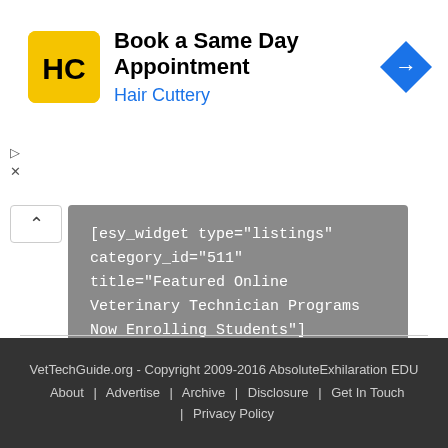[Figure (screenshot): Hair Cuttery advertisement banner with logo, title 'Book a Same Day Appointment', subtitle 'Hair Cuttery', and a blue navigation arrow icon on the right.]
[esy_widget type="listings" category_id="511" title="Featured Online Veterinary Technician Programs Now Enrolling Students"]
VetTechGuide.org - Copyright 2009-2016 AbsoluteExhilaration EDU
About | Advertise | Archive | Disclosure | Get In Touch | Privacy Policy